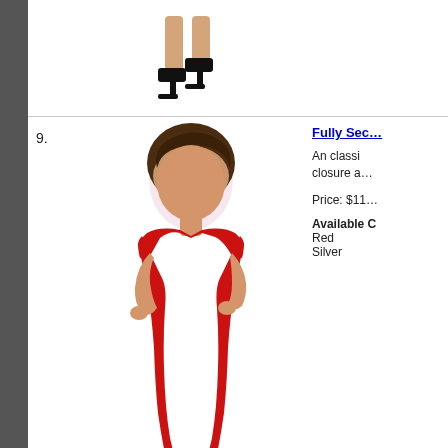[Figure (photo): Bottom portion of a model wearing black high heels, cropped at top of page]
9.
[Figure (photo): A female model wearing a red sequin form-fitting short dress with cap sleeves and black open-toe high heels]
Fully Se...
An classi... closure a...
Price: $11...
Available C... Red Silver
10.
[Figure (photo): Female model head cropped, wearing orange/red hair]
Single Sh...